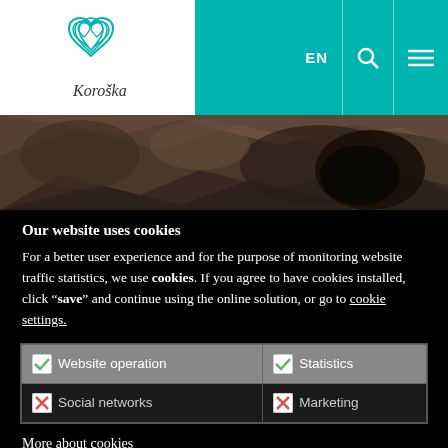[Figure (logo): Koroška tourism logo with heart-shaped icon and text 'Koroška']
EN  🔍  ☰
[Figure (photo): Rock cave or rocky surface texture photograph]
Our website uses cookies
For a better user experience and for the purpose of monitoring website traffic statistics, we use cookies. If you agree to have cookies installed, click "save" and continue using the online solution, or go to cookie settings.
| ✓ Website operation | ✓ Statistics |
| ✗ Social networks | ✗ Marketing |
More about cookies
SAVE